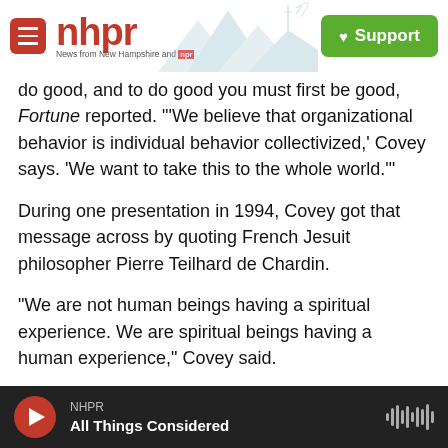nhpr — News from New Hampshire and NPR | Support
do good, and to do good you must first be good, Fortune reported. "'We believe that organizational behavior is individual behavior collectivized,' Covey says. 'We want to take this to the whole world.'"
During one presentation in 1994, Covey got that message across by quoting French Jesuit philosopher Pierre Teilhard de Chardin.
"We are not human beings having a spiritual experience. We are spiritual beings having a human experience," Covey said.
According to the AP, after Seven Habits, Covey
NHPR — All Things Considered